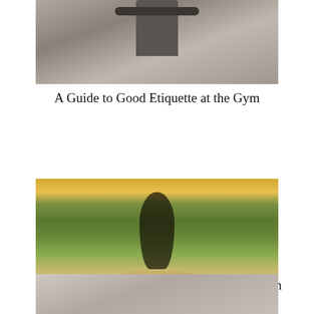[Figure (photo): Person holding dumbbells at the gym, cropped torso view]
A Guide to Good Etiquette at the Gym
[Figure (photo): Person walking on a trail path at sunset with backpack, greenery and warm light in background]
How to Protect Your DNA for Big Health Benefits
[Figure (photo): Partial view of a person, cropped at bottom of page]